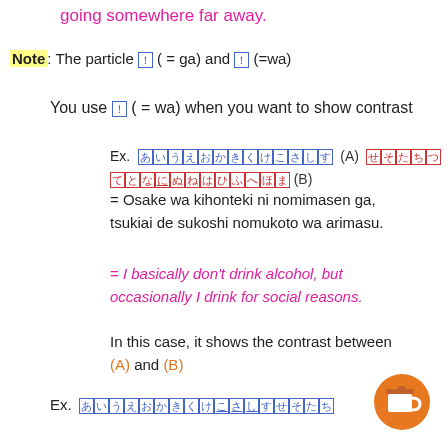going somewhere far away.
Note: The particle ？ ( = ga) and ？ (=wa)
You use ？ ( = wa) when you want to show contrast
Ex. ？？？？？？？？？？？？？ (A) ？？？？？？？？？？？？？？？？？？(B)
= Osake wa kihonteki ni nomimasen ga, tsukiai de sukoshi nomukoto wa arimasu.
= I basically don't drink alcohol, but occasionally I drink for social reasons.
In this case, it shows the contrast between (A) and (B)
Ex. ？？？？？？？？？？？？？？？？？